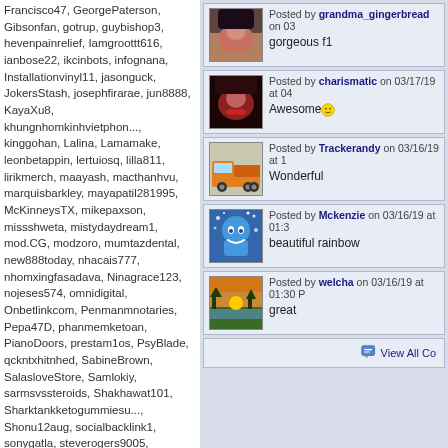Francisco47, GeorgePaterson, Gibsonfan, gotrup, guybishop3, hevenpainrelief, Iamgroottt616, ianbose22, ikcinbots, infognana, Installationvinyl11, jasonguck, JokersStash, josephfirarae, jun8888, KayaXu8, khungnhomkinhvietphon..., kinggohan, Lalina, Lamamake, leonbetappin, lertuiosq, lilla811, lirikmerch, maayash, macthanhvu, marquisbarkley, mayapatil281995, McKinneysTX, mikepaxson, missshweta, mistydaydream1, mod.CG, modzoro, mumtazdental, new888today, nhacais777, nhomxingfasadava, Ninagrace123, nojeses574, omnidigital, Onbetlinkcom, Penmanmnotaries, Pepa47D, phanmemketoan, PianoDoors, prestam1os, PsyBlade, qckntxhitnhed, SabineBrown, SalasloveStore, Samlokiy, sarmsvssteroids, Shakhawat101, Sharktankketogummiesu..., Shonu12aug, socialbacklink1, sonygatla, steverogers9005, susiestravelweb, SwastikPackersinMumba..., taigamekingfunus, texasnurselawyers, theglobalcitysvn24, theparkavenuecity, ThorsenBryan99, tiptopumzug, top10vietnamta, topd026, trainwellnesshike, Tropics777
Posted by grandma_gingerbread on 03 - gorgeous f1
Posted by charismatic on 03/17/19 at 04 - Awesome
Posted by Trackerandy on 03/16/19 at 1 - Wonderful
Posted by Mckenzie on 03/16/19 at 01:3 - beautiful rainbow
Posted by welcha on 03/16/19 at 01:30 - great
View All Co